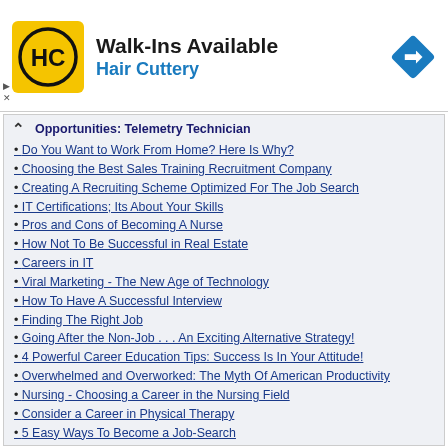[Figure (logo): Hair Cuttery advertisement banner with logo (yellow square with HC), headline 'Walk-Ins Available', brand name 'Hair Cuttery' in blue, and a blue diamond navigation icon on the right.]
Opportunities: Telemetry Technician
Do You Want to Work From Home? Here Is Why?
Choosing the Best Sales Training Recruitment Company
Creating A Recruiting Scheme Optimized For The Job Search
IT Certifications; Its About Your Skills
Pros and Cons of Becoming A Nurse
How Not To Be Successful in Real Estate
Careers in IT
Viral Marketing - The New Age of Technology
How To Have A Successful Interview
Finding The Right Job
Going After the Non-Job . . . An Exciting Alternative Strategy!
4 Powerful Career Education Tips: Success Is In Your Attitude!
Overwhelmed and Overworked: The Myth Of American Productivity
Nursing - Choosing a Career in the Nursing Field
Consider a Career in Physical Therapy
5 Easy Ways To Become a Job-Search
Optimum Project and Timesheet Control
10 Things A Manager Must Do On The First Day
Aspirants Become a Certified Nurse
» More on Careers and Job Hunting